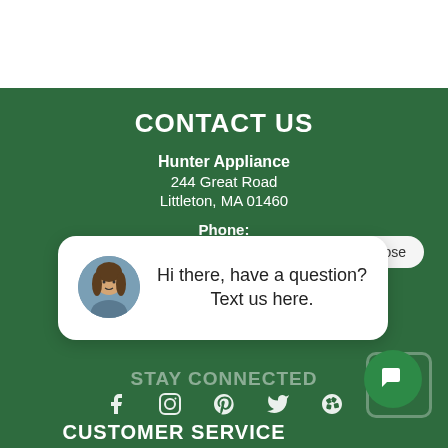CONTACT US
Hunter Appliance
244 Great Road
Littleton, MA 01460
Phone:
[Figure (screenshot): Chat popup with avatar photo of a woman and text: Hi there, have a question? Text us here. With a close button.]
STAY CONNECTED
[Figure (other): Social media icons: Facebook, Instagram, Pinterest, Twitter, Yelp]
CUSTOMER SERVICE